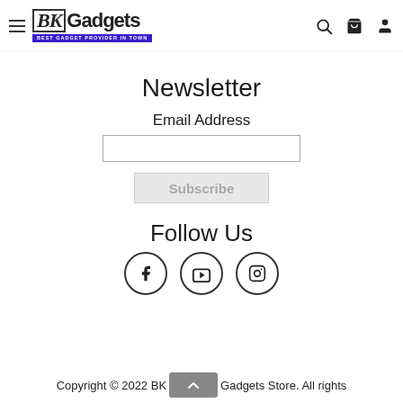[Figure (logo): BK Gadgets logo with hamburger menu icon on the left, and search, cart, user icons on the right]
Newsletter
Email Address
Subscribe
Follow Us
[Figure (infographic): Three social media icons in circles: Facebook (f), YouTube (play button), Instagram (camera)]
Copyright © 2022 BK Gadgets Store. All rights